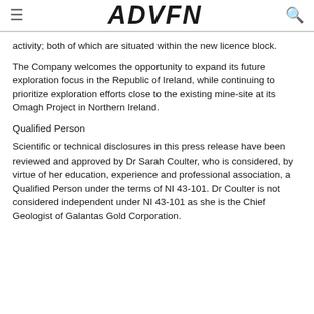ADVFN
activity; both of which are situated within the new licence block.
The Company welcomes the opportunity to expand its future exploration focus in the Republic of Ireland, while continuing to prioritize exploration efforts close to the existing mine-site at its Omagh Project in Northern Ireland.
Qualified Person
Scientific or technical disclosures in this press release have been reviewed and approved by Dr Sarah Coulter, who is considered, by virtue of her education, experience and professional association, a Qualified Person under the terms of NI 43-101. Dr Coulter is not considered independent under NI 43-101 as she is the Chief Geologist of Galantas Gold Corporation.